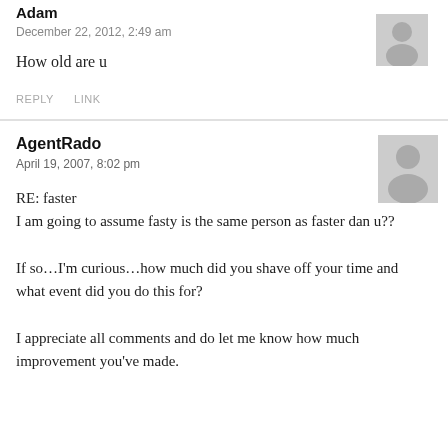Adam
December 22, 2012, 2:49 am
How old are u
REPLY   LINK
AgentRado
April 19, 2007, 8:02 pm
RE: faster
I am going to assume fasty is the same person as faster dan u??

If so…I'm curious…how much did you shave off your time and what event did you do this for?

I appreciate all comments and do let me know how much improvement you've made.